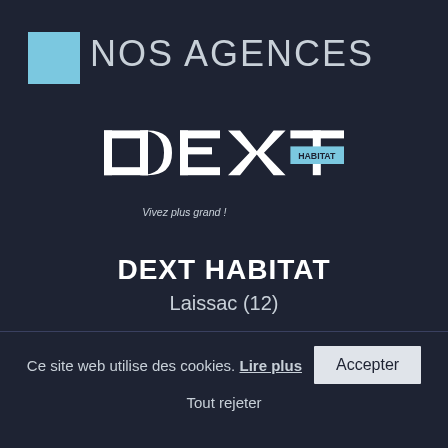NOS AGENCES
[Figure (logo): DEXT HABITAT logo with tagline 'Vivez plus grand!']
DEXT HABITAT
Laissac (12)
Ce site web utilise des cookies. Lire plus  Accepter
Tout rejeter